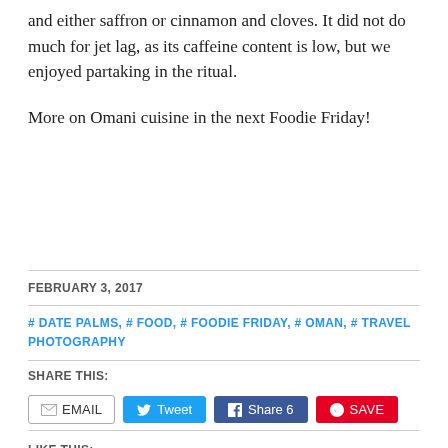and either saffron or cinnamon and cloves. It did not do much for jet lag, as its caffeine content is low, but we enjoyed partaking in the ritual.
More on Omani cuisine in the next Foodie Friday!
FEBRUARY 3, 2017
# DATE PALMS, # FOOD, # FOODIE FRIDAY, # OMAN, # TRAVEL PHOTOGRAPHY
SHARE THIS:
EMAIL  Tweet  Share 6  SAVE
LIKE THIS: